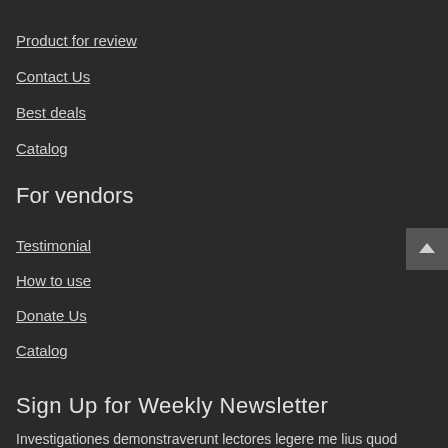Product for review
Contact Us
Best deals
Catalog
For vendors
Testimonial
How to use
Donate Us
Catalog
Sign Up for Weekly Newsletter
Investigationes demonstraverunt lectores legere me lius quod